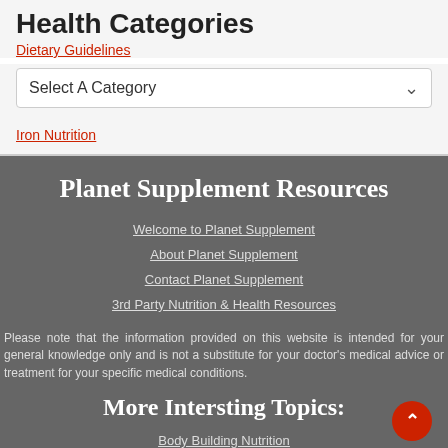Health Categories
Dietary Guidelines
Select A Category
Iron Nutrition
Planet Supplement Resources
Welcome to Planet Supplement
About Planet Supplement
Contact Planet Supplement
3rd Party Nutrition & Health Resources
Please note that the information provided on this website is intended for your general knowledge only and is not a substitute for your doctor's medical advice or treatment for your specific medical conditions.
More Intersting Topics:
Body Building Nutrition
Performance Sports Nutrition
Exercise Nutrition & Athlete Nutrition